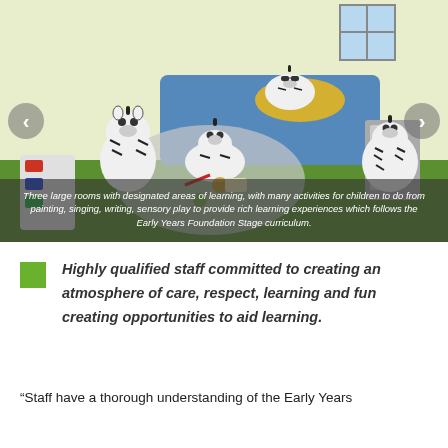[Figure (illustration): Cartoon illustration of cartoon zebras in a playroom/nursery setting with toys, art supplies, and learning materials. A slideshow carousel with left and right navigation arrows.]
Three large rooms with designated areas of learning, with many activities for children to do from painting, singing, writing, sensory play to provide rich learning experiences which follows the Early Years Foundation Stage curriculum.
Highly qualified staff committed to creating an atmosphere of care, respect, learning and fun creating opportunities to aid learning.
“Staff have a thorough understanding of the Early Years